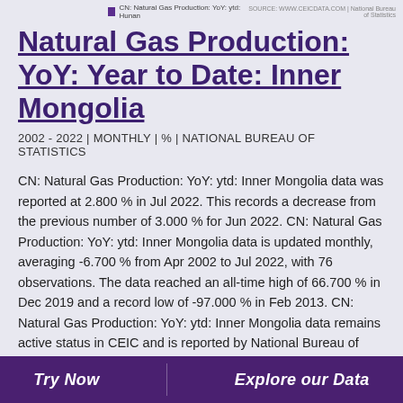CN: Natural Gas Production: YoY: ytd: Hunan | SOURCE: WWW.CEICDATA.COM | National Bureau of Statistics
Natural Gas Production: YoY: Year to Date: Inner Mongolia
2002 - 2022 | MONTHLY | % | NATIONAL BUREAU OF STATISTICS
CN: Natural Gas Production: YoY: ytd: Inner Mongolia data was reported at 2.800 % in Jul 2022. This records a decrease from the previous number of 3.000 % for Jun 2022. CN: Natural Gas Production: YoY: ytd: Inner Mongolia data is updated monthly, averaging -6.700 % from Apr 2002 to Jul 2022, with 76 observations. The data reached an all-time high of 66.700 % in Dec 2019 and a record low of -97.000 % in Feb 2013. CN: Natural Gas Production: YoY: ytd: Inner Mongolia data remains active status in CEIC and is reported by National Bureau of Statistics. The data is categorized under China Premium
Try Now | Explore our Data